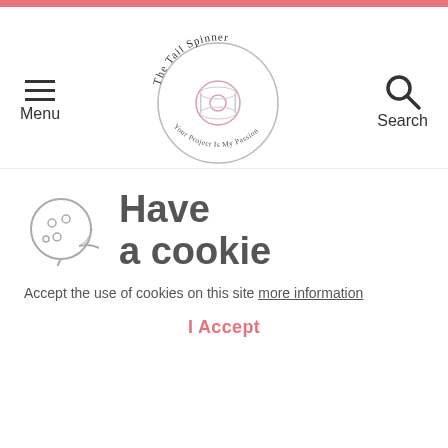Menu | The Tail Spinner - Your Project is My Passion | Search
[Figure (photo): Close-up of multicolored yarn skein with pastel green, pink, and yellow tones]
220 Superwash Sport Multis 119
Baby Bonnet
$6.50
Have a cookie
Accept the use of cookies on this site more information
I Accept